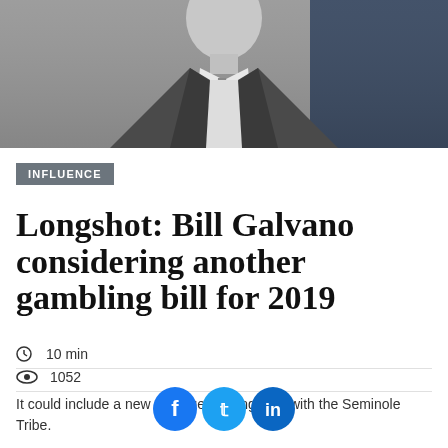[Figure (photo): Grayscale photo of a man in a suit and tie, cropped at the top of the page]
INFLUENCE
Longshot: Bill Galvano considering another gambling bill for 2019
10 min
1052
It could include a new revenue-sharing deal with the Seminole Tribe.
[Figure (other): Social sharing buttons: Facebook, Twitter, LinkedIn]